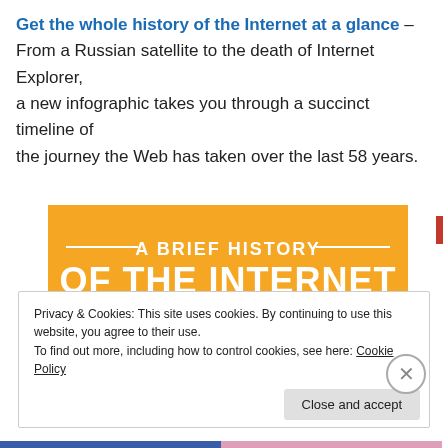Get the whole history of the Internet at a glance – From a Russian satellite to the death of Internet Explorer, a new infographic takes you through a succinct timeline of the journey the Web has taken over the last 58 years.
[Figure (infographic): Infographic titled 'A Brief History of the Internet – The breakthroughs that created and shaped our newsfeeds' on an orange background with white text and a mouse/plug icon at the bottom.]
Privacy & Cookies: This site uses cookies. By continuing to use this website, you agree to their use.
To find out more, including how to control cookies, see here: Cookie Policy
Close and accept